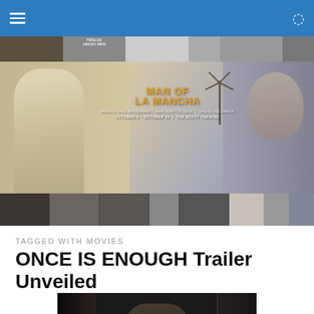Navigation bar with menu icon and search icon
[Figure (photo): Film strip collage header with thumbnails of movies including Twelve Angry Men]
[Figure (photo): Man of La Mancha theatre production banner showing Don Quixote figure on left, golden title text in center, windmill silhouette, and actor portrait on right. Text reads: MAN OF LA MANCHA written by Dale Wasserman, music by Mitch Leigh, lyrics by Joe Darion. OCTOBER 5 - OCTOBER 14 | THE SCOTT THEATRE]
[Figure (photo): Bottom filmstrip collage with various actor/production thumbnails]
TAGGED WITH MOVIES
ONCE IS ENOUGH Trailer Unveiled
[Figure (photo): Dark moody film still showing a figure in low light, appears to be a scene from the movie Once Is Enough]